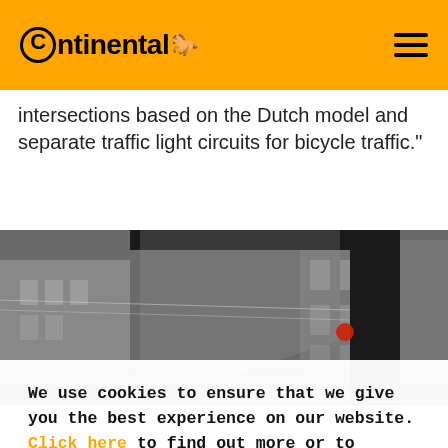Continental [logo]
intersections based on the Dutch model and separate traffic light circuits for bicycle traffic."
[Figure (photo): View through a vehicle windshield/mirror showing an urban intersection with traffic lights, including a red traffic signal visible, buildings in background, city street scene in black and white tones.]
We use cookies to ensure that we give you the best experience on our website. Click here to find out more or to change your cookie settings.
Accept all